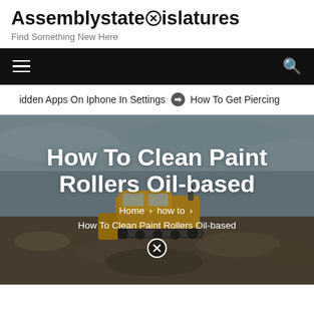Assemblystatelegislatures — Find Something New Here
[Figure (screenshot): Navigation bar with hamburger menu on left and search icon on right, black background]
Hidden Apps On Iphone In Settings  ❯  How To Get Piercing
[Figure (photo): Hero image showing a yellow bulldozer on a landfill/rubble site under an overcast sky, with white bold text overlay reading 'How To Clean Paint Rollers Oil-based' and breadcrumb navigation: Home > how to > How To Clean Paint Rollers Oil-based]
How To Clean Paint Rollers Oil-based
Home > how to > How To Clean Paint Rollers Oil-based